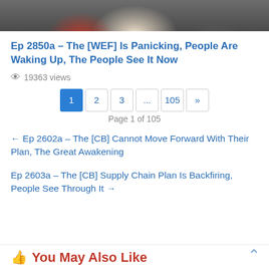[Figure (photo): Top portion of a screenshot showing a person in a suit, cropped to show torso/tie area against a dark background]
Ep 2850a – The [WEF] Is Panicking, People Are Waking Up, The People See It Now
19363 views
1 2 3 ... 105 » Page 1 of 105
← Ep 2602a – The [CB] Cannot Move Forward With Their Plan, The Great Awakening
Ep 2603a – The [CB] Supply Chain Plan Is Backfiring, People See Through It →
You May Also Like